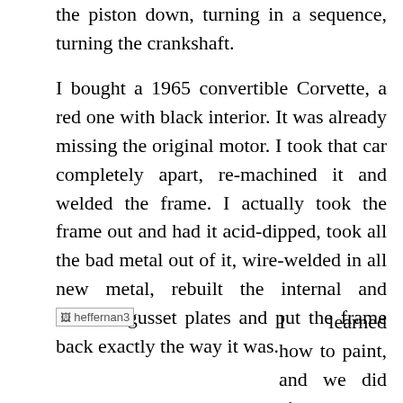the piston down, turning in a sequence, turning the crankshaft.
I bought a 1965 convertible Corvette, a red one with black interior. It was already missing the original motor. I took that car completely apart, re-machined it and welded the frame. I actually took the frame out and had it acid-dipped, took all the bad metal out of it, wire-welded in all new metal, rebuilt the internal and external gusset plates and put the frame back exactly the way it was.
[Figure (photo): Image placeholder labeled heffernan3]
I learned how to paint, and we did zinc-chromate priming and